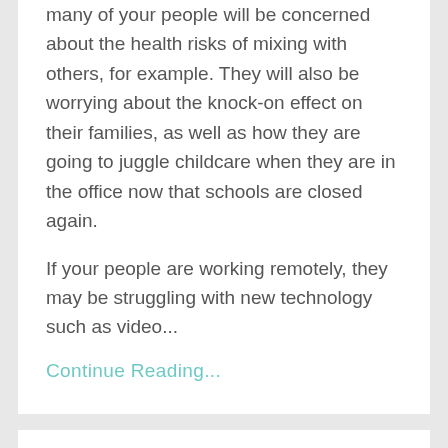many of your people will be concerned about the health risks of mixing with others, for example. They will also be worrying about the knock-on effect on their families, as well as how they are going to juggle childcare when they are in the office now that schools are closed again.
If your people are working remotely, they may be struggling with new technology such as video...
Continue Reading...
35 Reminders About Life